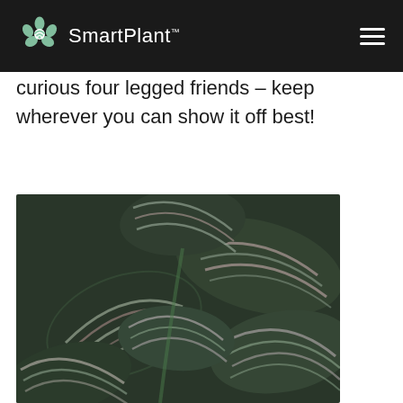SmartPlant™
curious four legged friends – keep wherever you can show it off best!
[Figure (photo): Close-up photograph of Calathea plant leaves showing distinctive dark green and pink/white striped patterns on overlapping leaves]